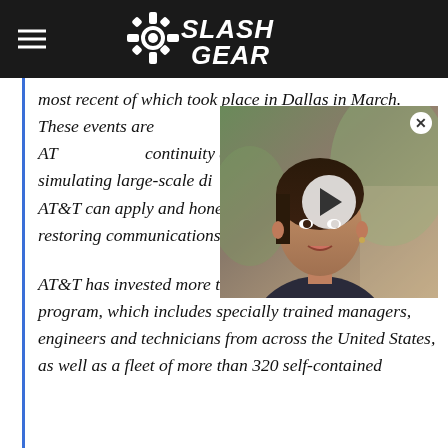SlashGear
most recent of which took place in Dallas in March. These events are [partially obscured] refine and strengthen AT[&T's] continuity and disaster re[covery plans by] simulating large-scale di[sruptions. By testing] service disruptions, AT&T can apply and hone best practices for rapidly restoring communications.
[Figure (photo): Video overlay thumbnail showing a woman speaking, with a circular play button in the center and a close (X) button in the top right corner.]
AT&T has invested more than $600 million in its NDR program, which includes specially trained managers, engineers and technicians from across the United States, as well as a fleet of more than 320 self-contained